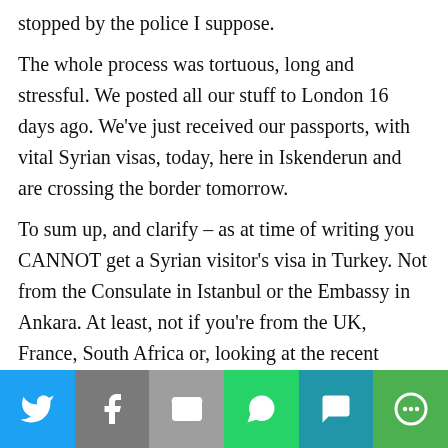stopped by the police I suppose.

The whole process was tortuous, long and stressful. We posted all our stuff to London 16 days ago. We've just received our passports, with vital Syrian visas, today, here in Iskenderun and are crossing the border tomorrow.

To sum up, and clarify – as at time of writing you CANNOT get a Syrian visitor's visa in Turkey. Not from the Consulate in Istanbul or the Embassy in Ankara. At least, not if you're from the UK, France, South Africa or, looking at the recent addition to this page, the Netherlands.

To be fair to Lonely Planet, whose guide book is
[Figure (other): Social media share bar with icons for Twitter, Facebook, Email, WhatsApp, SMS, and More]